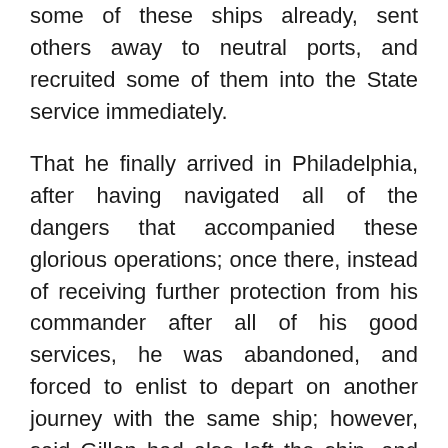some of these ships already, sent others away to neutral ports, and recruited some of them into the State service immediately.
That he finally arrived in Philadelphia, after having navigated all of the dangers that accompanied these glorious operations; once there, instead of receiving further protection from his commander after all of his good services, he was abandoned, and forced to enlist to depart on another journey with the same ship; however, said Gillon had also left the ship, and transferred the